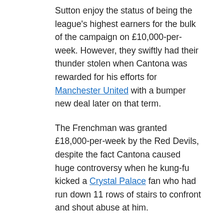Sutton enjoy the status of being the league's highest earners for the bulk of the campaign on £10,000-per-week. However, they swiftly had their thunder stolen when Cantona was rewarded for his efforts for Manchester United with a bumper new deal later on that term.
The Frenchman was granted £18,000-per-week by the Red Devils, despite the fact Cantona caused huge controversy when he kung-fu kicked a Crystal Palace fan who had run down 11 rows of stairs to confront and shout abuse at him.
1995/96 – Dennis Bergkamp, £25,000-per-week